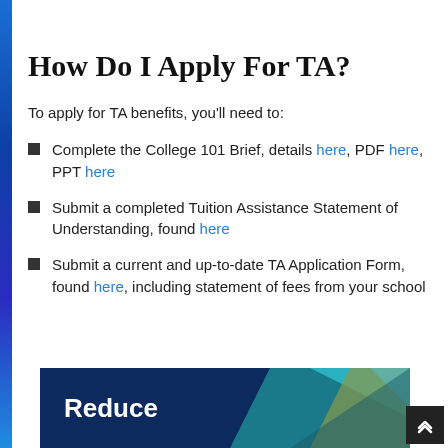How Do I Apply For TA?
To apply for TA benefits, you'll need to:
Complete the College 101 Brief, details here, PDF here, PPT here
Submit a completed Tuition Assistance Statement of Understanding, found here
Submit a current and up-to-date TA Application Form, found here, including statement of fees from your school
[Figure (other): Bottom banner with dark navy background showing the word 'Reduce' in bold white text and decorative teal/olive diagonal graphic elements on the right side, with a dark scroll-to-top button in the lower right corner.]